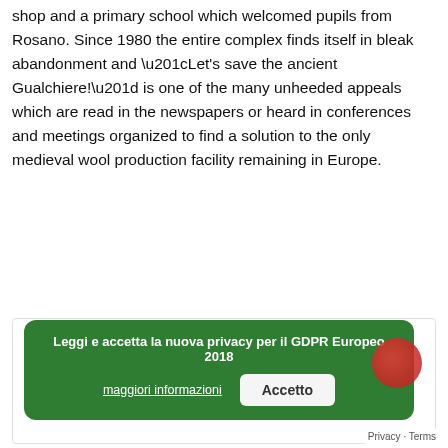shop and a primary school which welcomed pupils from Rosano. Since 1980 the entire complex finds itself in bleak abandonment and “Let's save the ancient Gualchiere!” is one of the many unheeded appeals which are read in the newspapers or heard in conferences and meetings organized to find a solution to the only medieval wool production facility remaining in Europe.
[Figure (other): Social sharing buttons bar showing Facebook, Twitter, Google+, Pinterest, and WhatsApp icons]
Leggi e accetta la nuova privacy per il GDPR Europeo 2018
maggiori informazioni
Accetto
Privacy · Terms